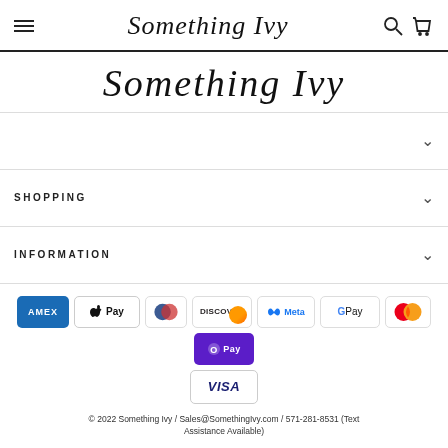Something Ivy
Something Ivy
SHOPPING
INFORMATION
[Figure (other): Payment method logos: American Express, Apple Pay, Diners Club, Discover, Meta Pay, Google Pay, Mastercard, Shop Pay, Visa]
© 2022 Something Ivy / Sales@SomethingIvy.com / 571-281-8531 (Text Assistance Available)